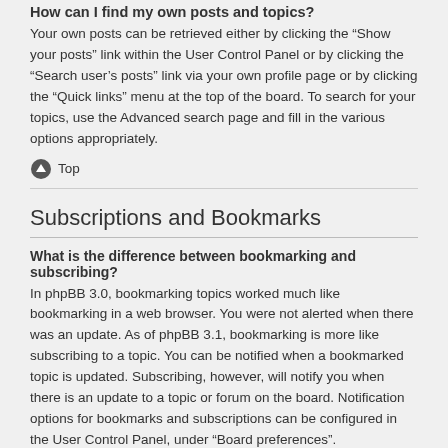How can I find my own posts and topics?
Your own posts can be retrieved either by clicking the “Show your posts” link within the User Control Panel or by clicking the “Search user’s posts” link via your own profile page or by clicking the “Quick links” menu at the top of the board. To search for your topics, use the Advanced search page and fill in the various options appropriately.
Top
Subscriptions and Bookmarks
What is the difference between bookmarking and subscribing?
In phpBB 3.0, bookmarking topics worked much like bookmarking in a web browser. You were not alerted when there was an update. As of phpBB 3.1, bookmarking is more like subscribing to a topic. You can be notified when a bookmarked topic is updated. Subscribing, however, will notify you when there is an update to a topic or forum on the board. Notification options for bookmarks and subscriptions can be configured in the User Control Panel, under “Board preferences”.
Top
How do I bookmark or subscribe to specific topics?
You can bookmark or subscribe to a specific topic by clicking the appropriate link in the “Topic tools” menu, conveniently located near the top and bottom of a topic discussion.
Bookmarking topics with the “Notify me when a reply is posted” option and...